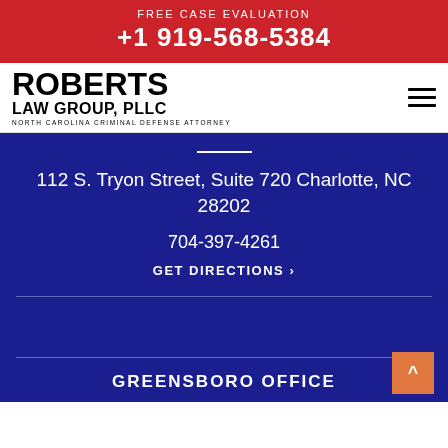FREE CASE EVALUATION
+1 919-568-5384
[Figure (logo): Roberts Law Group, PLLC logo - North Carolina Criminal Defense Attorney]
112 S. Tryon Street, Suite 720 Charlotte, NC 28202
704-397-4261
GET DIRECTIONS >
GREENSBORO OFFICE